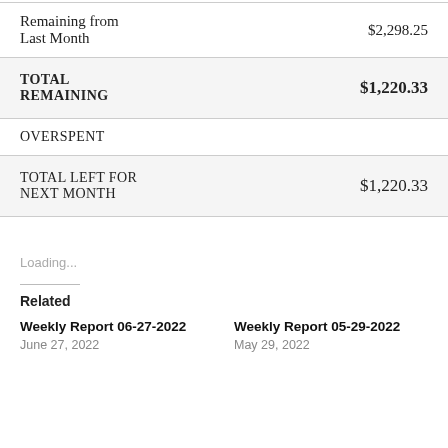| Label | Value |
| --- | --- |
| Remaining from Last Month | $2,298.25 |
| TOTAL REMAINING | $1,220.33 |
| OVERSPENT |  |
| TOTAL LEFT FOR NEXT MONTH | $1,220.33 |
Loading...
Related
Weekly Report 06-27-2022
June 27, 2022
Weekly Report 05-29-2022
May 29, 2022